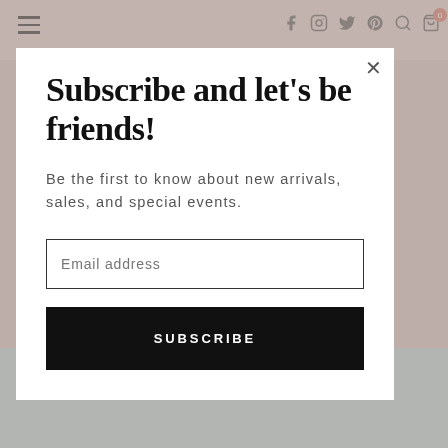Navigation bar with hamburger menu and social/action icons (Facebook, Instagram, Twitter, Pinterest, Search, Cart with badge 0)
Subscribe and let's be friends!
Be the first to know about new arrivals, sales, and special events.
Email address
SUBSCRIBE